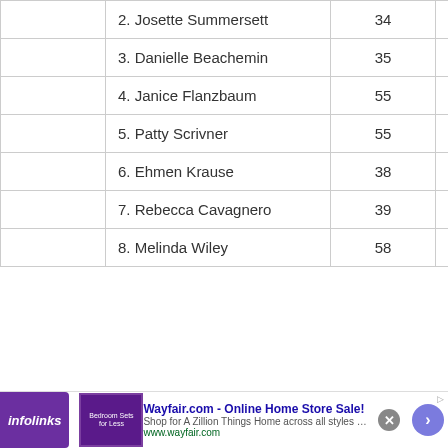|  | Name | Age | Time |
| --- | --- | --- | --- |
|  | 2. Josette Summersett | 34 | 77:44:00 |
|  | 3. Danielle Beachemin | 35 | 77:44:00 |
|  | 4. Janice Flanzbaum | 55 | 102:30:00 |
|  | 5. Patty Scrivner | 55 | 104:36:00 |
|  | 6. Ehmen Krause | 38 | 111:19:00 |
|  | 7. Rebecca Cavagnero | 39 | 114:35:00 |
|  | 8. Melinda Wiley | 58 | 114:44:00 |
[Figure (other): Infolinks advertisement banner: Wayfair.com - Online Home Store Sale! Shop for A Zillion Things Home across all styles at Wayfair! www.wayfair.com]